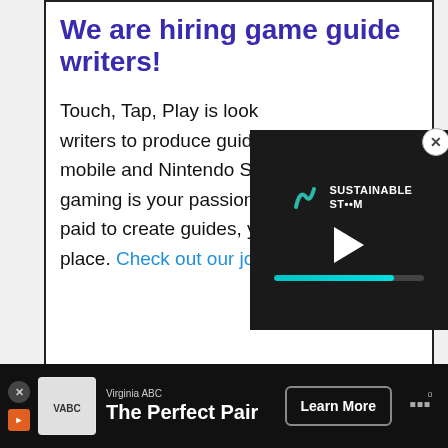We are hiring game guide writers!
Touch, Tap, Play is looking for writers to produce guides for popular mobile and Nintendo Switch games. If gaming is your passion and you want to get paid to create guides, you're in the right place. Check out our job ad today!
[Figure (screenshot): Video overlay showing Sustainable Steam logo with play button and teal progress bar on dark background, with a close (X) button in top-right corner]
ADVERTISEMENT
[Figure (screenshot): Bottom banner ad: Virginia ABC - The Perfect Pair with Learn More button and Weatherline icon on dark background]